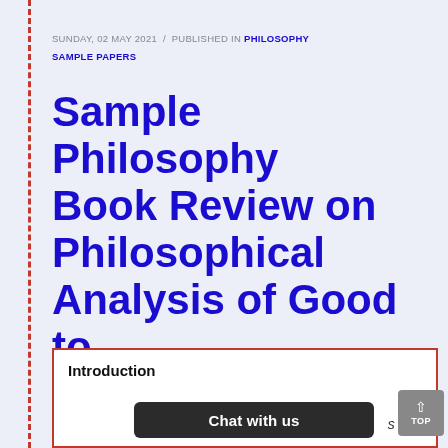SUNDAY, 02 MAY 2021 / PUBLISHED IN PHILOSOPHY SAMPLE PAPERS
Sample Philosophy Book Review on Philosophical Analysis of Good to Great
Introduction
Chat with us  s one